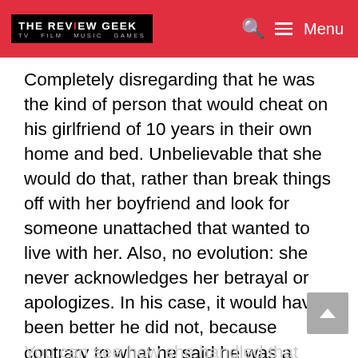THE REVIEW GEEK | TV FILM MUSIC GAMES — Menu
someone that liked the guy simply because [she] was the first to want to marry him. Completely disregarding that he was the kind of person that would cheat on his girlfriend of 10 years in their own home and bed. Unbelievable that she would do that, rather than break things off with her boyfriend and look for someone unattached that wanted to live with her. Also, no evolution: she never acknowledges her betrayal or apologizes. In his case, it would have been better he did not, because contrary to what he said he was a horrible boyfriend *and* a horrible friend, for the same reasons (betraying physically, emotionally, financially, stalking and being a drunken, violent, possessive, self entitled nuisance).